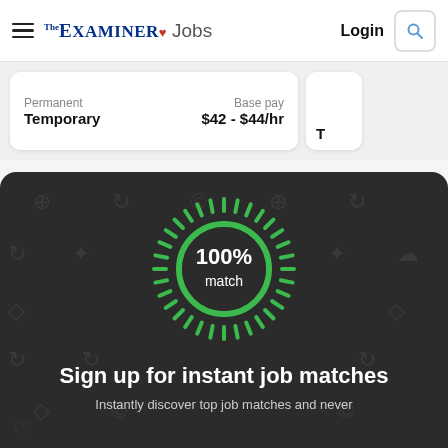The Examiner Jobs — Login
Permanent
Temporary
Base pay
$42 - $44/hr
[Figure (infographic): Dark rounded banner with green sunburst / 100% match circle graphic, background pattern of faint job-related icons]
Sign up for instant job matches
Instantly discover top job matches and never